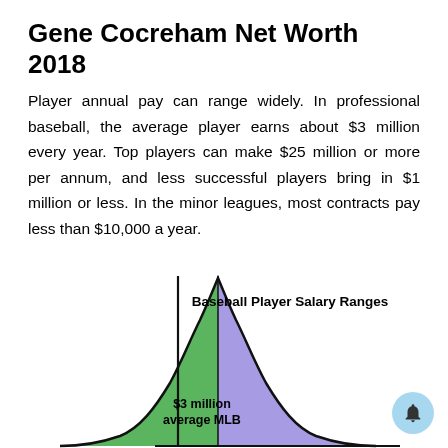Gene Cocreham Net Worth 2018
Player annual pay can range widely. In professional baseball, the average player earns about $3 million every year. Top players can make $25 million or more per annum, and less successful players bring in $1 million or less. In the minor leagues, most contracts pay less than $10,000 a year.
[Figure (continuous-plot): A bell curve chart titled 'Baseball Player Salary Ranges' showing a distribution of baseball player salaries. The left (green) portion of the curve represents below-average salaries, and the right (purple/blue) portion represents above-average salaries. A vertical axis line divides the curve near the peak. Text inside the green area reads '$3 million average MLB'.]